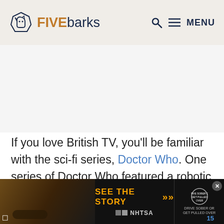FIVEbarks — MENU
[Figure (screenshot): White/light grey advertisement placeholder area]
If you love British TV, you'll be familiar with the sci-fi series, Doctor Who. One series of Doctor Who featured a robotic
[Figure (screenshot): Bottom advertisement banner: SEE THE STORY >> with NHTSA branding and DRIVE SOBER OR GET PULLED OVER message]